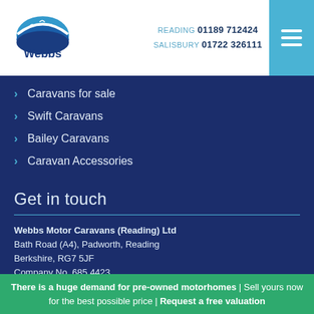Webbs | READING 01189 712424 | SALISBURY 01722 326111
Caravans for sale
Swift Caravans
Bailey Caravans
Caravan Accessories
Get in touch
Webbs Motor Caravans (Reading) Ltd
Bath Road (A4), Padworth, Reading
Berkshire, RG7 5JF
Company No. 685 4423
Webbs Caravans Ltd
Castlegate Business Park, Old Sarum,
Salisbury, Wiltshire, SP1 6BY
There is a huge demand for pre-owned motorhomes | Sell yours now for the best possible price | Request a free valuation